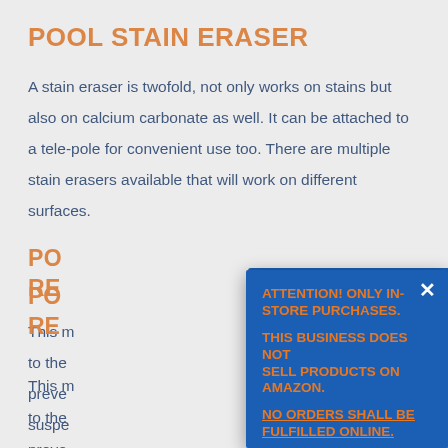POOL STAIN ERASER
A stain eraser is twofold, not only works on stains but also on calcium carbonate as well. It can be attached to a tele-pole for convenient use too. There are multiple stain erasers available that will work on different surfaces.
POOL STAIN AND SCALE REMOVAL
This m... to the... preve... suspe... is out... is to a... It is in...
ATTENTION! ONLY IN-STORE PURCHASES.

THIS BUSINESS DOES NOT SELL PRODUCTS ON AMAZON.

NO ORDERS SHALL BE FULFILLED ONLINE.